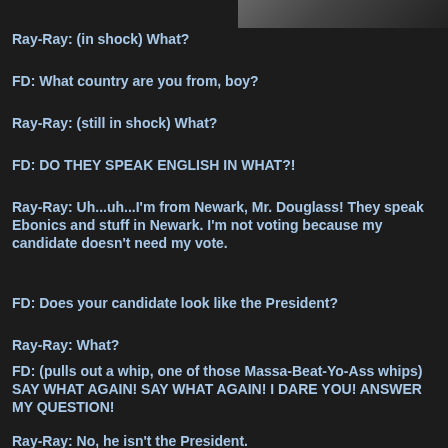[Figure (photo): Dark partial photo strip at top right corner]
Ray-Ray: (in shock) What?
FD: What country are you from, boy?
Ray-Ray: (still in shock) What?
FD: DO THEY SPEAK ENGLISH IN WHAT?!
Ray-Ray: Uh...uh...I'm from Newark, Mr. Douglass! They speak Ebonics and stuff in Newark. I'm not voting because my candidate doesn't need my vote.
FD: Does your candidate look like the President?
Ray-Ray: What?
FD: (pulls out a whip, one of those Massa-Beat-Yo-Ass whips) SAY WHAT AGAIN! SAY WHAT AGAIN! I DARE YOU! ANSWER MY QUESTION!
Ray-Ray: No, he isn't the President.